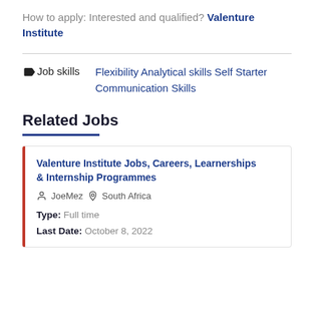How to apply: Interested and qualified? Valenture Institute
Job skills  Flexibility Analytical skills Self Starter Communication Skills
Related Jobs
Valenture Institute Jobs, Careers, Learnerships & Internship Programmes
JoeMez  South Africa
Type: Full time
Last Date: October 8, 2022